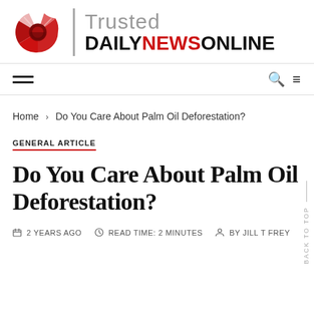[Figure (logo): Trusted Daily News Online logo with red circular icon and site name]
Navigation bar with hamburger menu and search/menu icons
Home › Do You Care About Palm Oil Deforestation?
GENERAL ARTICLE
Do You Care About Palm Oil Deforestation?
2 YEARS AGO   READ TIME: 2 MINUTES   BY JILL T FREY